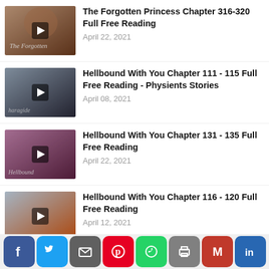The Forgotten Princess Chapter 316-320 Full Free Reading
April 22, 2021
Hellbound With You Chapter 111 - 115 Full Free Reading - Physients Stories
April 08, 2021
Hellbound With You Chapter 131 - 135 Full Free Reading
April 22, 2021
Hellbound With You Chapter 116 - 120 Full Free Reading
April 12, 2021
Hellbound With You Chapter 161 - 165 Full Free Reading